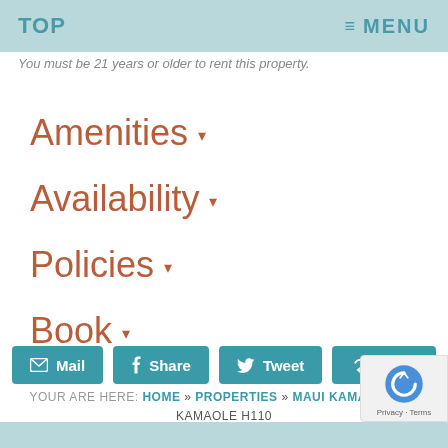TOP   ≡ MENU
You must be 21 years or older to rent this property.
Amenities ▾
Availability ▾
Policies ▾
Book ▾
Mail   Share   Tweet   Share
YOUR ARE HERE: HOME » PROPERTIES » MAUI KAMAOLE » MAUI KAMAOLE H110